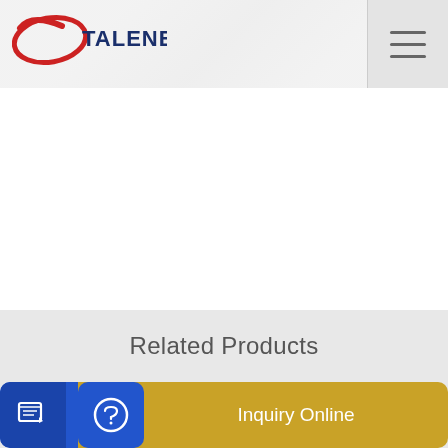TALENET
Related Products
vesz Dalset csúszik lg mixer truck
Top Concrete Pumping Beauty Point TAS StartLocal
Send Message
Inquiry Online